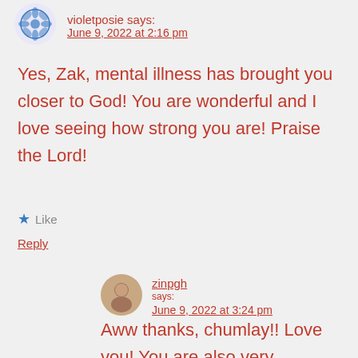violetposie says:
June 9, 2022 at 2:16 pm
Yes, Zak, mental illness has brought you closer to God! You are wonderful and I love seeing how strong you are! Praise the Lord!
★ Like
Reply
zinpgh says:
June 9, 2022 at 3:24 pm
Aww thanks, chumlay!! Love you! You are also very